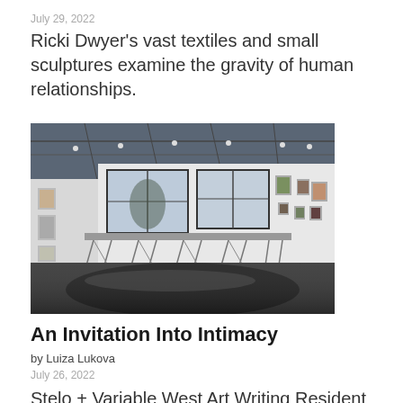July 29, 2022
Ricki Dwyer's vast textiles and small sculptures examine the gravity of human relationships.
[Figure (photo): Interior of an art gallery with large industrial windows, a long table with wire-frame legs, and artworks hung on white walls. Dark reflective floor.]
An Invitation Into Intimacy
by Luiza Lukova
July 26, 2022
Stelo + Variable West Art Writing Resident Lusi Lukova considers the radical potential for care in